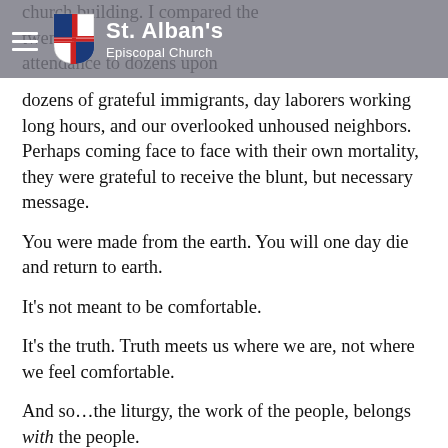St. Alban's Episcopal Church
church building. I compared the twenty attendance to dozens upon dozens of grateful immigrants, day laborers working long hours, and our overlooked unhoused neighbors. Perhaps coming face to face with their own mortality, they were grateful to receive the blunt, but necessary message.
You were made from the earth. You will one day die and return to earth.
It’s not meant to be comfortable.
It’s the truth. Truth meets us where we are, not where we feel comfortable.
And so…the liturgy, the work of the people, belongs with the people.
This is a message of hope.
However, this is not an opportunity for the church to “reach out,” as if we were